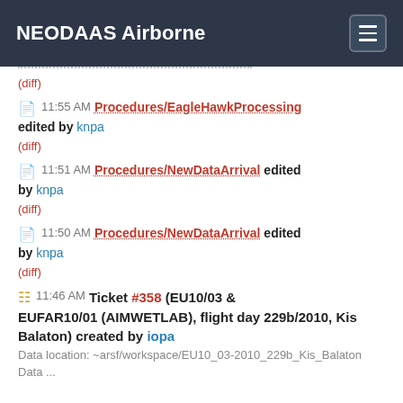NEODAAS Airborne
(diff)
11:55 AM Procedures/EagleHawkProcessing edited by knpa
(diff)
11:51 AM Procedures/NewDataArrival edited by knpa
(diff)
11:50 AM Procedures/NewDataArrival edited by knpa
(diff)
11:46 AM Ticket #358 (EU10/03 & EUFAR10/01 (AIMWETLAB), flight day 229b/2010, Kis Balaton) created by iopa
Data location: ~arsf/workspace/EU10_03-2010_229b_Kis_Balaton Data ...